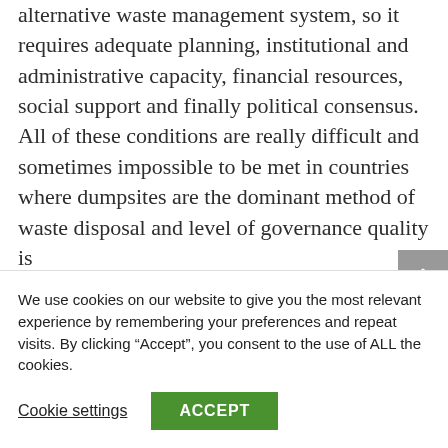alternative waste management system, so it requires adequate planning, institutional and administrative capacity, financial resources, social support and finally political consensus.  All of these conditions are really difficult and sometimes impossible to be met in countries where dumpsites are the dominant method of waste disposal and level of governance quality is
We use cookies on our website to give you the most relevant experience by remembering your preferences and repeat visits. By clicking “Accept”, you consent to the use of ALL the cookies.